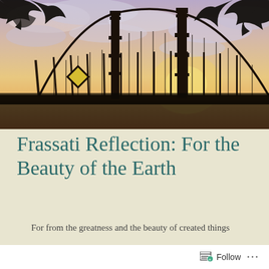[Figure (photo): Photograph of a suspension bridge (likely the Triborough/RFK bridge) at sunset or dusk, with dramatic clouds in the background and tree branches framing the upper corners. Warm orange and purple hues in the sky.]
Frassati Reflection: For the Beauty of the Earth
For from the greatness and the beauty of created things
their original author, by analogy, is seen
Follow ...